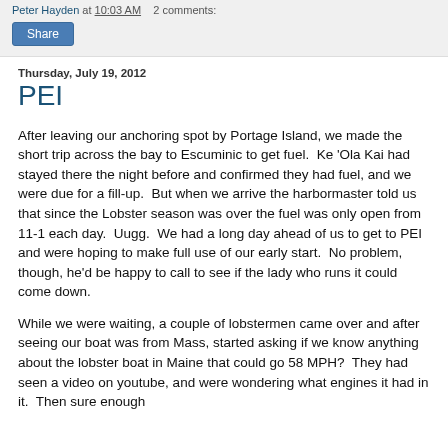Peter Hayden at 10:03 AM   2 comments:
Share
Thursday, July 19, 2012
PEI
After leaving our anchoring spot by Portage Island, we made the short trip across the bay to Escuminic to get fuel. Ke 'Ola Kai had stayed there the night before and confirmed they had fuel, and we were due for a fill-up. But when we arrive the harbormaster told us that since the Lobster season was over the fuel was only open from 11-1 each day. Uugg. We had a long day ahead of us to get to PEI and were hoping to make full use of our early start. No problem, though, he'd be happy to call to see if the lady who runs it could come down.
While we were waiting, a couple of lobstermen came over and after seeing our boat was from Mass, started asking if we know anything about the lobster boat in Maine that could go 58 MPH? They had seen a video on youtube, and were wondering what engines it had in it. Then sure enough